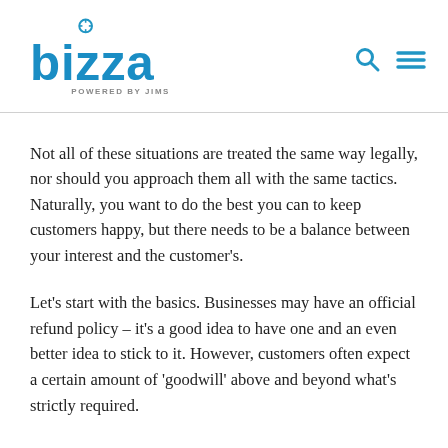[Figure (logo): Bizza logo - blue rounded text 'bizza' with a lifebuoy icon above the 'i', and 'POWERED BY JIMS' text below in grey]
Not all of these situations are treated the same way legally, nor should you approach them all with the same tactics. Naturally, you want to do the best you can to keep customers happy, but there needs to be a balance between your interest and the customer's.
Let's start with the basics. Businesses may have an official refund policy – it's a good idea to have one and an even better idea to stick to it. However, customers often expect a certain amount of 'goodwill' above and beyond what's strictly required.